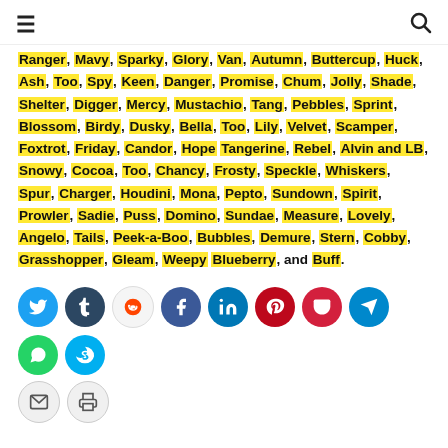≡  🔍
Ranger, Mavy, Sparky, Glory, Van, Autumn, Buttercup, Huck, Ash, Too, Spy, Keen, Danger, Promise, Chum, Jolly, Shade, Shelter, Digger, Mercy, Mustachio, Tang, Pebbles, Sprint, Blossom, Birdy, Dusky, Bella, Too, Lily, Velvet, Scamper, Foxtrot, Friday, Candor, Hope Tangerine, Rebel, Alvin and LB, Snowy, Cocoa, Too, Chancy, Frosty, Speckle, Whiskers, Spur, Charger, Houdini, Mona, Pepto, Sundown, Spirit, Prowler, Sadie, Puss, Domino, Sundae, Measure, Lovely, Angelo, Tails, Peek-a-Boo, Bubbles, Demure, Stern, Cobby, Grasshopper, Gleam, Weepy Blueberry, and Buff.